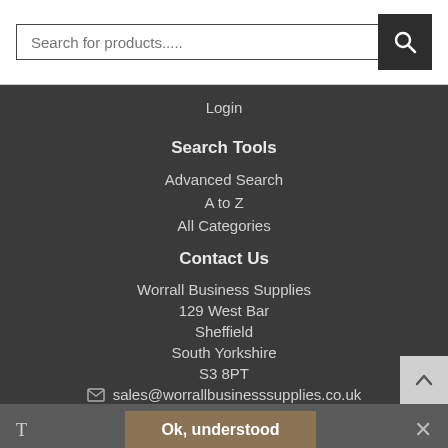[Figure (screenshot): Search bar with text input placeholder 'Search for products.....' and a dark search button with magnifying glass icon]
Login
Search Tools
Advanced Search
A to Z
All Categories
Contact Us
Worrall Business Supplies
129 West Bar
Sheffield
South Yorkshire
S3 8PT
✉ sales@worrallbusinesssupplies.co.uk
Ok, understood